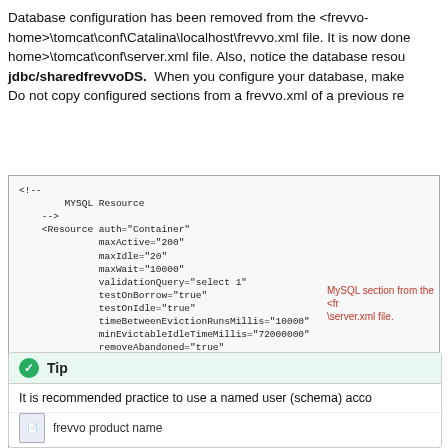Database configuration has been removed from the <frevvo-home>\tomcat\conf\Catalina\localhost\frevvo.xml file. It is now done in the <frevvo-home>\tomcat\conf\server.xml file. Also, notice the database resource name is jdbc/sharedfrevvoDS. When you configure your database, make sure to use this name. Do not copy configured sections from a frevvo.xml of a previous release.
[Figure (screenshot): Code block showing XML configuration for MySQL Resource in server.xml, with name='jdbc/sharedfrevvoDS' highlighted and a red arrow pointing to it. Annotations on the right read: 'MySQL section from the <fr...\server.xml file.' and 'Notice the database resource name: jdbc/sharedfrevvoDS.']
Tip
It is recommended practice to use a named user (schema) acco...
frevvo product name